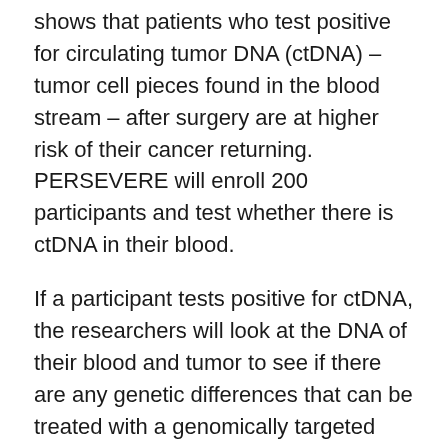shows that patients who test positive for circulating tumor DNA (ctDNA) – tumor cell pieces found in the blood stream – after surgery are at higher risk of their cancer returning. PERSEVERE will enroll 200 participants and test whether there is ctDNA in their blood.
If a participant tests positive for ctDNA, the researchers will look at the DNA of their blood and tumor to see if there are any genetic differences that can be treated with a genomically targeted therapy or a standard treatment. There are several possible combination therapies that these participants may receive based on their genetic differences.
If a participant tests positive for ctDNA but researchers determine they do not have a specific genetic variant that is being targeted, they will...